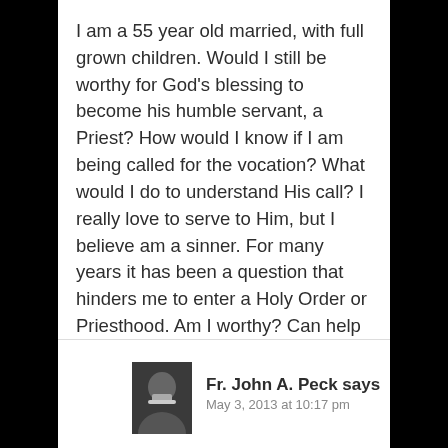I am a 55 year old married, with full grown children. Would I still be worthy for God's blessing to become his humble servant, a Priest? How would I know if I am being called for the vocation? What would I do to understand His call? I really love to serve to Him, but I believe am a sinner. For many years it has been a question that hinders me to enter a Holy Order or Priesthood. Am I worthy? Can help me?
Reply
[Figure (photo): Avatar photo of Fr. John A. Peck — elderly man with white beard]
Fr. John A. Peck says
May 3, 2013 at 10:17 pm